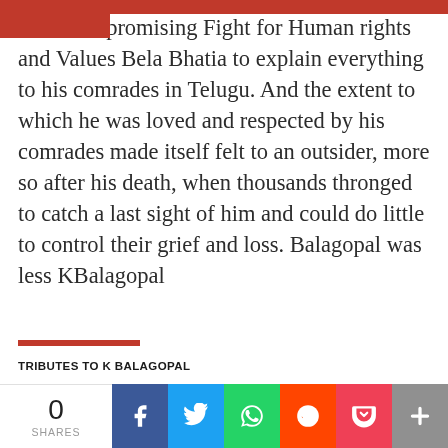an uncompromising Fight for Human rights and Values Bela Bhatia to explain everything to his comrades in Telugu. And the extent to which he was loved and respected by his comrades made itself felt to an outsider, more so after his death, when thousands thronged to catch a last sight of him and could do little to control their grief and loss. Balagopal was less KBalagopal
TRIBUTES TO K BALAGOPAL
An Uncompromising Fight for Human Rights and Values
Bela Bhatia
0 SHARES